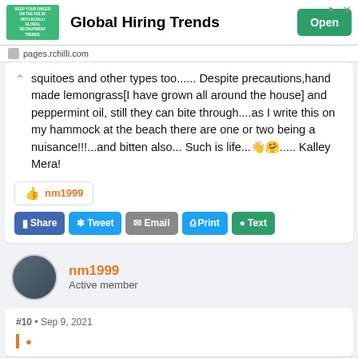[Figure (other): Advertisement banner for rchilli.com Global Hiring Trends with green image, bold title, and Open button]
squitoes and other types too...... Despite precautions,hand made lemongrass[I have grown all around the house] and peppermint oil, still they can bite through....as I write this on my hammock at the beach there are one or two being a nuisance!!!...and bitten also... Such is life... Kalley Mera!
nm1999
Share  Tweet  Email  Print  Text
nm1999
Active member
#10 • Sep 9, 2021